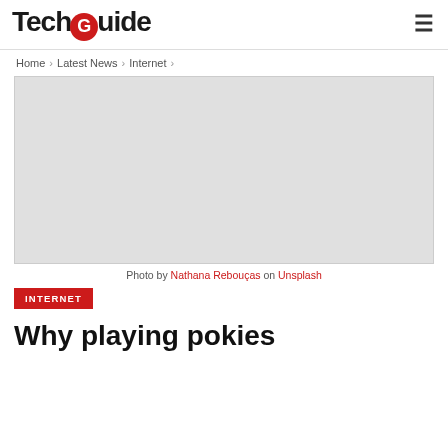TechGuide
Home > Latest News > Internet >
[Figure (photo): Light gray placeholder image area]
Photo by Nathana Rebouças on Unsplash
INTERNET
Why playing pokies